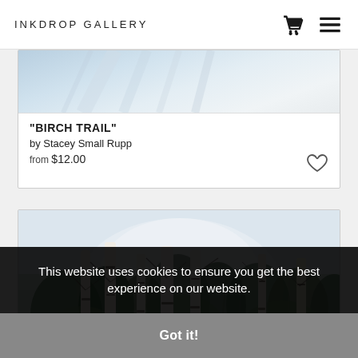INKDROP GALLERY
[Figure (photo): Top portion of a snowy birch trail watercolor painting, partially visible]
"BIRCH TRAIL"
by Stacey Small Rupp
from $12.00
[Figure (photo): Watercolor painting of birch trees in a forest trail with green and brown foliage]
This website uses cookies to ensure you get the best experience on our website.
Got it!